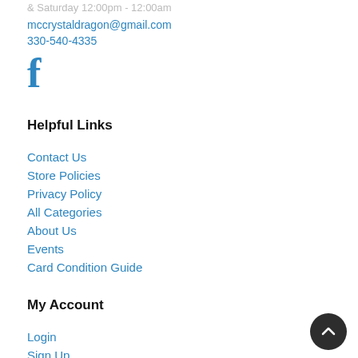& Saturday 12:00pm - 12:00am
mccrystaldragon@gmail.com
330-540-4335
[Figure (logo): Facebook logo icon in blue]
Helpful Links
Contact Us
Store Policies
Privacy Policy
All Categories
About Us
Events
Card Condition Guide
My Account
Login
Sign Up